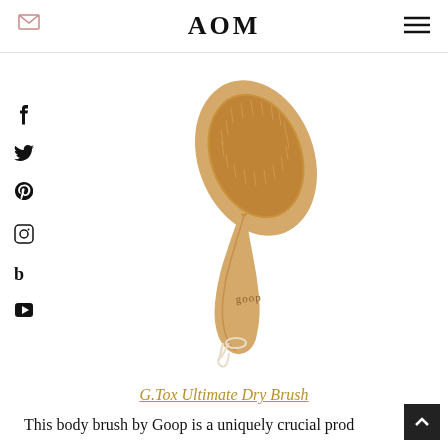AOM
[Figure (photo): A wooden dry body brush with natural bristles and a rope loop at the end. The handle is engraved with 'goop'. The brush is tilted diagonally on a white background.]
G.Tox Ultimate Dry Brush
This body brush by Goop is a uniquely crucial prod